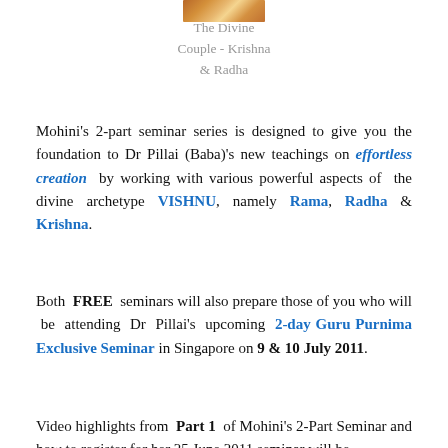[Figure (photo): Partial image of Krishna and Radha at the top center of the page]
The Divine Couple - Krishna & Radha
Mohini's 2-part seminar series is designed to give you the foundation to Dr Pillai (Baba)'s new teachings on effortless creation by working with various powerful aspects of the divine archetype VISHNU, namely Rama, Radha & Krishna.
Both FREE seminars will also prepare those of you who will be attending Dr Pillai's upcoming 2-day Guru Purnima Exclusive Seminar in Singapore on 9 & 10 July 2011.
Video highlights from Part 1 of Mohini's 2-Part Seminar and how to register for her 25 June 2011 seminar will be